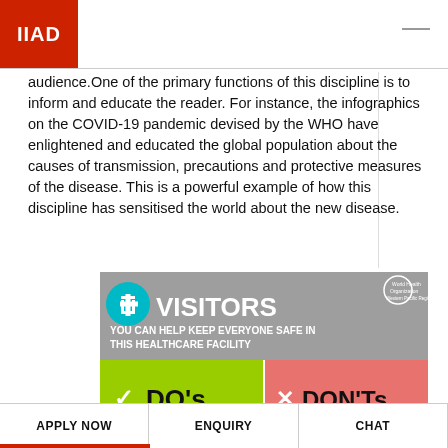IIAD
audience.One of the primary functions of this discipline is to inform and educate the reader. For instance, the infographics on the COVID-19 pandemic devised by the WHO have enlightened and educated the global population about the causes of transmission, precautions and protective measures of the disease. This is a powerful example of how this discipline has sensitised the world about the new disease.
[Figure (infographic): WHO Western Pacific Region infographic for hospital visitors. Header: cyan cross icon with 'VISITORS' in large white text. Subheading: 'YOU CAN HELP KEEP EVERYONE SAFE IN THIS HEALTHCARE FACILITY'. Bottom two panels: left green panel with checkmark icon and 'DO's' in bold black text; right red/salmon panel with X icon and 'DON'Ts' in bold black text.]
APPLY NOW   ENQUIRY   CHAT